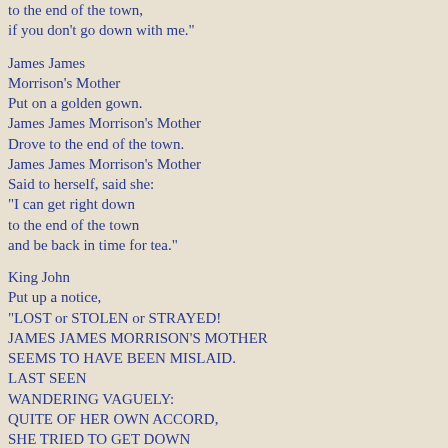to the end of the town,
if you don't go down with me."
James James
Morrison's Mother
Put on a golden gown.
James James Morrison's Mother
Drove to the end of the town.
James James Morrison's Mother
Said to herself, said she:
"I can get right down
to the end of the town
and be back in time for tea."
King John
Put up a notice,
"LOST or STOLEN or STRAYED!
JAMES JAMES MORRISON'S MOTHER
SEEMS TO HAVE BEEN MISLAID.
LAST SEEN
WANDERING VAGUELY:
QUITE OF HER OWN ACCORD,
SHE TRIED TO GET DOWN
TO THE END OF THE TOWN -
FORTY SHILLINGS REWARD!"
James James
Morrison Morrison
(Commonly known as Jim)
Told his
Other relations